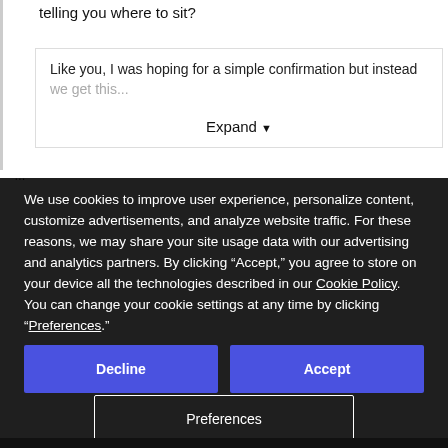telling you where to sit?
Like you, I was hoping for a simple confirmation but instead we get this...
Expand
We use cookies to improve user experience, personalize content, customize advertisements, and analyze website traffic. For these reasons, we may share your site usage data with our advertising and analytics partners. By clicking “Accept,” you agree to store on your device all the technologies described in our Cookie Policy. You can change your cookie settings at any time by clicking “Preferences.”
Decline
Accept
Preferences